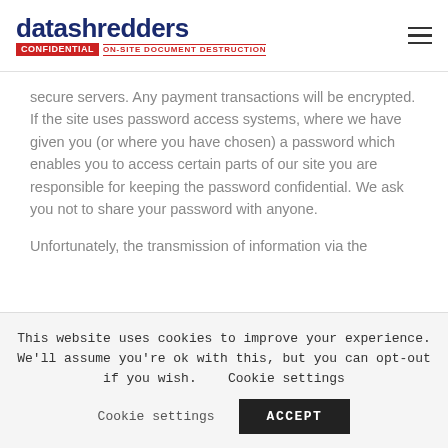datashredders CONFIDENTIAL ON-SITE DOCUMENT DESTRUCTION
secure servers. Any payment transactions will be encrypted. If the site uses password access systems, where we have given you (or where you have chosen) a password which enables you to access certain parts of our site you are responsible for keeping the password confidential. We ask you not to share your password with anyone.
Unfortunately, the transmission of information via the
This website uses cookies to improve your experience. We'll assume you're ok with this, but you can opt-out if you wish. Cookie settings ACCEPT